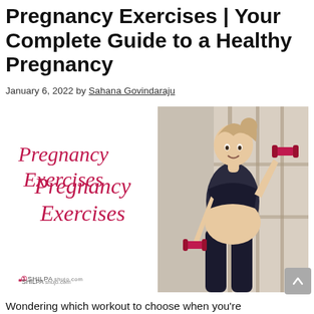Pregnancy Exercises | Your Complete Guide to a Healthy Pregnancy
January 6, 2022 by Sahana Govindaraju
[Figure (illustration): A composite image showing the text 'Pregnancy Exercises' in red cursive script on a white background on the left, and a photo of a pregnant woman in a black sports bra and leggings holding red dumbbells in a gym on the right. The SHILPA shujo.com logo appears in the lower left.]
Wondering which workout to choose when you're pregnant?! Worry not. We have curated the list of safe